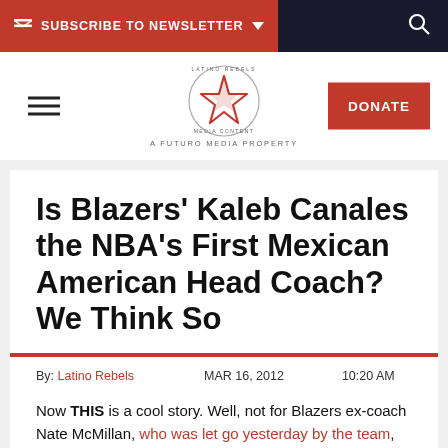SUBSCRIBE TO NEWSLETTER
[Figure (logo): Latino Rebels star logo circle with text 'Latino Rebels · Media Content', tagline 'A FUTURO MEDIA PROPERTY']
Is Blazers' Kaleb Canales the NBA's First Mexican American Head Coach? We Think So
By: Latino Rebels   MAR 16, 2012   10:20 AM
Now THIS is a cool story. Well, not for Blazers ex-coach Nate McMillan, who was let go yesterday by the team, but for Kaleb Canales, who was named interim coach. And we think he is the first Mexican American to lead an NBA team. We did